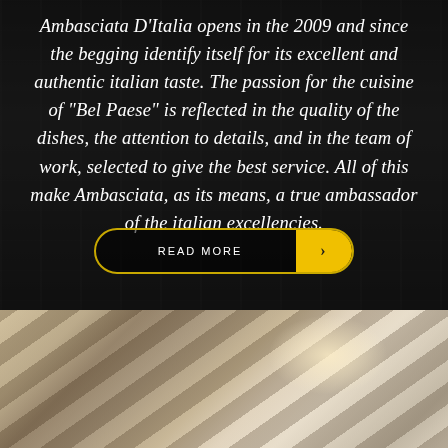Ambasciata D'Italia opens in the 2009 and since the begging identify itself for its excellent and authentic italian taste. The passion for the cuisine of "Bel Paese" is reflected in the quality of the dishes, the attention to details, and in the team of work, selected to give the best service. All of this make Ambasciata, as its means, a true ambassador of the italian excellencies.
[Figure (other): READ MORE button with yellow arrow, styled as a pill-shaped button with dark outline and yellow arrow badge on the right]
[Figure (photo): Photo of outdoor awning/umbrella structure, warm brown tones, viewed from below at an angle, with bright natural light]